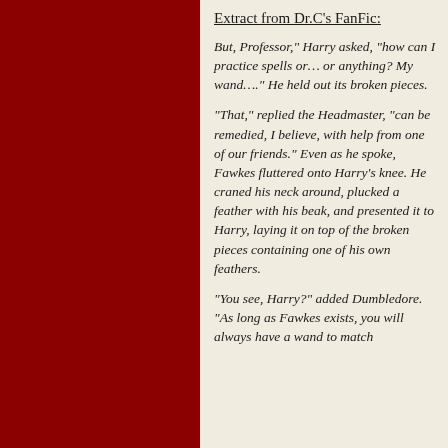Extract from Dr.C's FanFic:
But, Professor," Harry asked, "how can I practice spells or… or anything? My wand…." He held out its broken pieces.
"That," replied the Headmaster, "can be remedied, I believe, with help from one of our friends." Even as he spoke, Fawkes fluttered onto Harry's knee. He craned his neck around, plucked a feather with his beak, and presented it to Harry, laying it on top of the broken pieces containing one of his own feathers.
"You see, Harry?" added Dumbledore. "As long as Fawkes exists, you will always have a wand to match